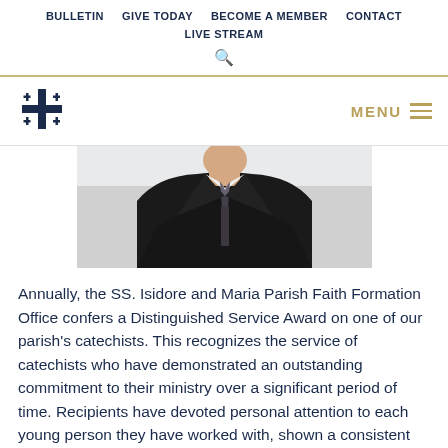BULLETIN  GIVE TODAY  BECOME A MEMBER  CONTACT  LIVE STREAM
[Figure (logo): Jerusalem Cross logo (gold cross with four smaller crosses) on the left, and MENU with hamburger icon in gold on the right]
[Figure (photo): Cropped photo of a person in a dark suit and patterned tie, visible from chest up, no face visible]
Annually, the SS. Isidore and Maria Parish Faith Formation Office confers a Distinguished Service Award on one of our parish's catechists. This recognizes the service of catechists who have demonstrated an outstanding commitment to their ministry over a significant period of time. Recipients have devoted personal attention to each young person they have worked with, shown a consistent